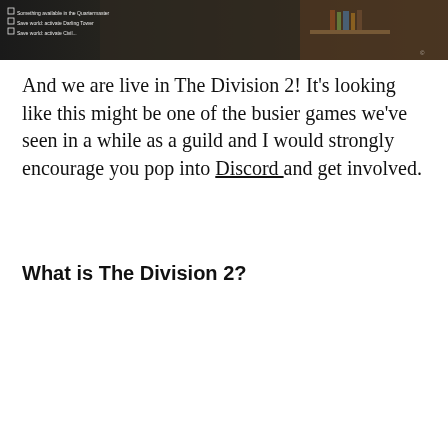[Figure (screenshot): Screenshot of The Division 2 video game showing a character in tactical gear inside a room with bookshelves, with HUD overlay elements in the top left corner showing quest/objective text]
And we are live in The Division 2!  It's looking like this might be one of the busier games we've seen in a while as a guild and I would strongly encourage you pop into Discord and get involved.
What is The Division 2?